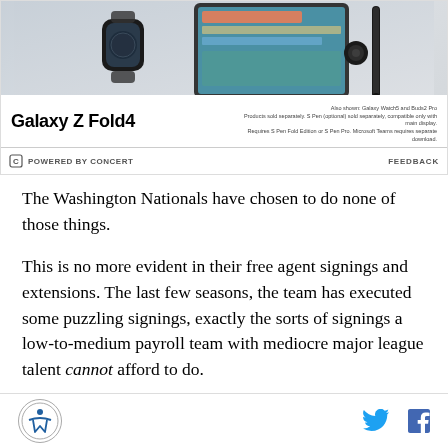[Figure (illustration): Samsung Galaxy Z Fold4 advertisement showing the phone and other devices on a gray background. Text reads 'Galaxy Z Fold4' with disclaimer text about S Pen and other products. Powered by Concert label with Feedback link.]
The Washington Nationals have chosen to do none of those things.
This is no more evident in their free agent signings and extensions. The last few seasons, the team has executed some puzzling signings, exactly the sorts of signings a low-to-medium payroll team with mediocre major league talent cannot afford to do.
The Free Agent
Footer with logo, Twitter icon, and Facebook icon